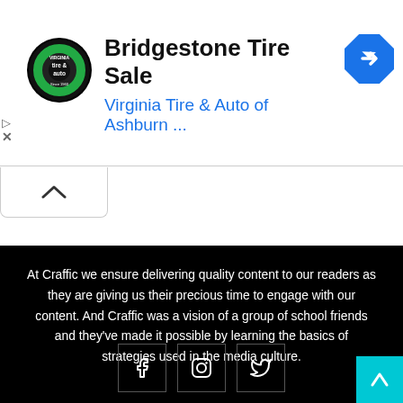[Figure (screenshot): Advertisement banner for Bridgestone Tire Sale by Virginia Tire & Auto of Ashburn with logo and navigation icon]
Bridgestone Tire Sale
Virginia Tire & Auto of Ashburn ...
At Craffic we ensure delivering quality content to our readers as they are giving us their precious time to engage with our content. And Craffic was a vision of a group of school friends and they've made it possible by learning the basics of strategies used in the media culture.
[Figure (illustration): Social media icons: Facebook, Instagram, Twitter in bordered boxes]